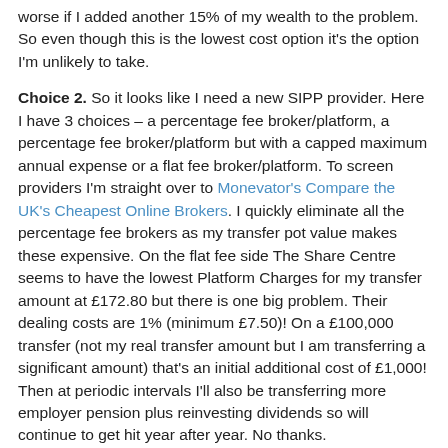worse if I added another 15% of my wealth to the problem. So even though this is the lowest cost option it's the option I'm unlikely to take.
Choice 2. So it looks like I need a new SIPP provider. Here I have 3 choices – a percentage fee broker/platform, a percentage fee broker/platform but with a capped maximum annual expense or a flat fee broker/platform. To screen providers I'm straight over to Monevator's Compare the UK's Cheapest Online Brokers. I quickly eliminate all the percentage fee brokers as my transfer pot value makes these expensive. On the flat fee side The Share Centre seems to have the lowest Platform Charges for my transfer amount at £172.80 but there is one big problem. Their dealing costs are 1% (minimum £7.50)! On a £100,000 transfer (not my real transfer amount but I am transferring a significant amount) that's an initial additional cost of £1,000! Then at periodic intervals I'll also be transferring more employer pension plus reinvesting dividends so will continue to get hit year after year. No thanks.
Next up we have Interactive Investor and Motley Fool Share